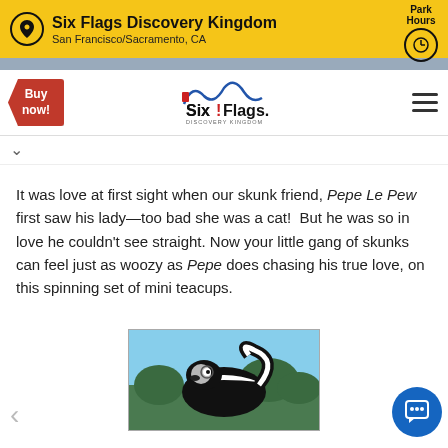Six Flags Discovery Kingdom
San Francisco/Sacramento, CA
Park Hours
[Figure (logo): Six Flags Discovery Kingdom logo with roller coaster graphic]
It was love at first sight when our skunk friend, Pepe Le Pew first saw his lady—too bad she was a cat!  But he was so in love he couldn't see straight. Now your little gang of skunks can feel just as woozy as Pepe does chasing his true love, on this spinning set of mini teacups.
[Figure (photo): Pepe Le Pew skunk character ride sculpture at Six Flags Discovery Kingdom]